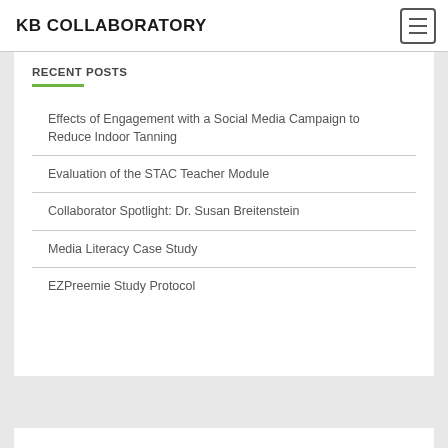KB COLLABORATORY
RECENT POSTS
Effects of Engagement with a Social Media Campaign to Reduce Indoor Tanning
Evaluation of the STAC Teacher Module
Collaborator Spotlight: Dr. Susan Breitenstein
Media Literacy Case Study
EZPreemie Study Protocol